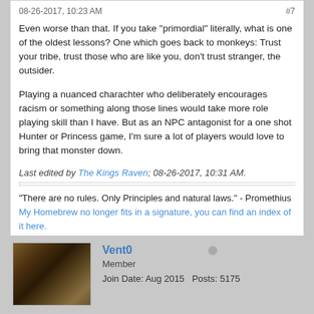08-26-2017, 10:23 AM   #7
Even worse than that. If you take "primordial" literally, what is one of the oldest lessons? One which goes back to monkeys: Trust your tribe, trust those who are like you, don't trust stranger, the outsider.
Playing a nuanced charachter who deliberately encourages racism or something along those lines would take more role playing skill than I have. But as an NPC antagonist for a one shot Hunter or Princess game, I'm sure a lot of players would love to bring that monster down.
Last edited by The Kings Raven; 08-26-2017, 10:31 AM.
“There are no rules. Only Principles and natural laws.” - Promethius
My Homebrew no longer fits in a signature, you can find an index of it here.
Full length fan-books I contributed too: Princess: the Hopeful, Leviathan: the Tempest, Dream Catchers
2 likes
Vent0
Member
Join Date: Aug 2015   Posts: 5175